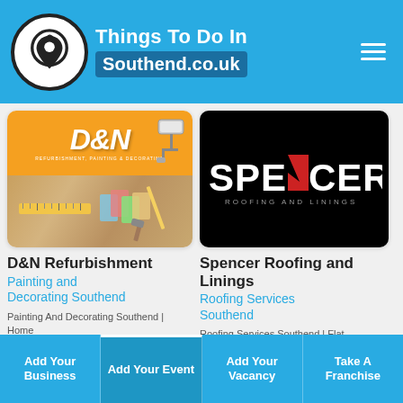Things To Do In Southend.co.uk
[Figure (screenshot): D&N Refurbishment, Painting & Decorating logo and tools image card]
[Figure (logo): Spencer Roofing and Linings logo on black background]
D&N Refurbishment
Painting and Decorating Southend
Painting And Decorating Southend | Home Refurbishment | Wallpapering
Spencer Roofing and Linings
Roofing Services Southend
Roofing Services Southend | Flat
Add Your Business | Add Your Event | Add Your Vacancy | Take A Franchise